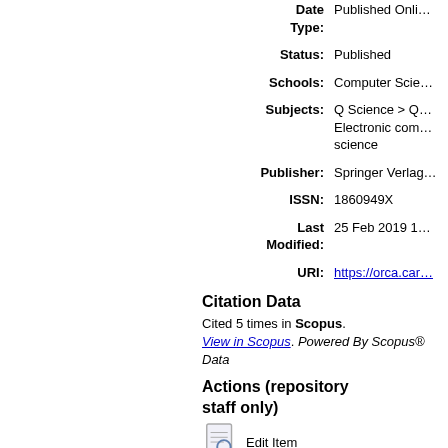| Label | Value |
| --- | --- |
| Date Type: | Published Online |
| Status: | Published |
| Schools: | Computer Science |
| Subjects: | Q Science > Q… Electronic com… science |
| Publisher: | Springer Verlag |
| ISSN: | 1860949X |
| Last Modified: | 25 Feb 2019 1… |
| URI: | https://orca.car… |
Citation Data
Cited 5 times in Scopus. View in Scopus. Powered By Scopus® Data
Actions (repository staff only)
Edit Item
Altmetric